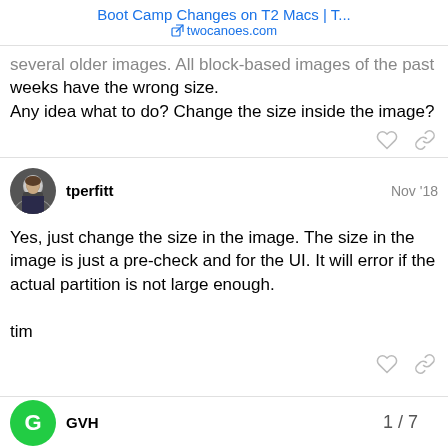Boot Camp Changes on T2 Macs | T...
twocanoes.com
several older images. All block-based images of the past weeks have the wrong size.
Any idea what to do? Change the size inside the image?
tperfitt  Nov '18
Yes, just change the size in the image. The size in the image is just a pre-check and for the UI. It will error if the actual partition is not large enough.

tim
GVH  1 / 7